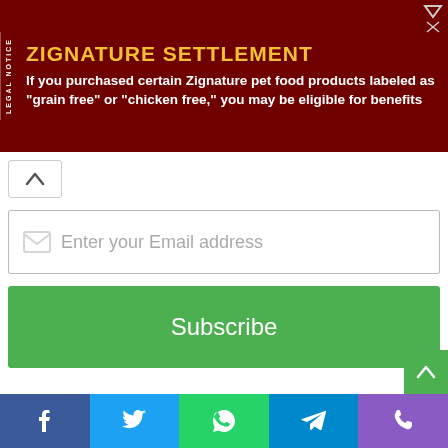ZIGNATURE SETTLEMENT
If you purchased certain Zignature pet food products labeled as "grain free" or "chicken free," you may be eligible for benefits
Enter your Email address
Subscribe
[Figure (illustration): Stack of gold Bitcoin cryptocurrency coins with a left-arrow navigation chevron overlay in the center]
Social share bar with Facebook, Twitter, WhatsApp, Telegram, and Phone icons